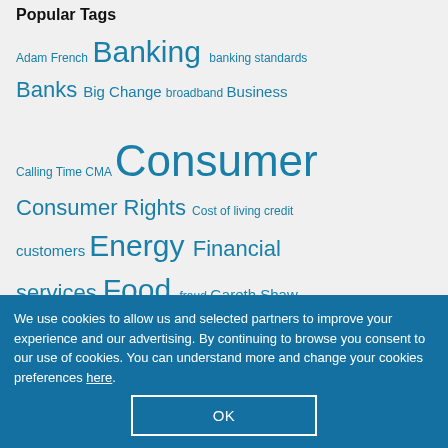Popular Tags
Adam French Banking banking standards Banks Big Change broadband Business Calling Time CMA Consumer Consumer Rights Cost of living credit customers Energy Financial services Food fraud Gareth Shaw government Harry Rose Health Insurance
We use cookies to allow us and selected partners to improve your experience and our advertising. By continuing to browse you consent to our use of cookies. You can understand more and change your cookies preferences here.
OK